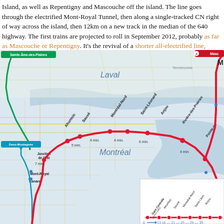Island, as well as Repentigny and Mascouche off the island. The line goes through the electrified Mont-Royal Tunnel, then along a single-tracked CN right of way across the island, then 12km on a new track in the median of the 640 highway. The first trains are projected to roll in September 2012, probably as far as Mascouche or Repentigny. It's the revival of a shorter all-electrified line, which cea...
[Figure (map): Transit route map showing a commuter train line (red) running through Montreal, connecting Gare Centrale through Ahuntsic, Sauve, Montreal-Nord, Saint-Leonard, Anjou, Riviere-des-Prairies, and Pointe-aux-Trembles, with connections to Mascouche (top right) and extending south. Also shows metro connections (teal/blue lines), a green GO-train route to Sainte-Ame-des-Plaines (top left), and geographic labels for Laval, Montreal-Nord, Saint-Leonard, Anjou, Montreal. Inset at bottom right shows route diagram with distances: 0, 13, 16, 21, 25, 29, 35... minutes and station names: Gare Centrale (centre-ville), Ahuntsic, Sauve, Montreal-Nord, Saint-Leonard, Anjou.]